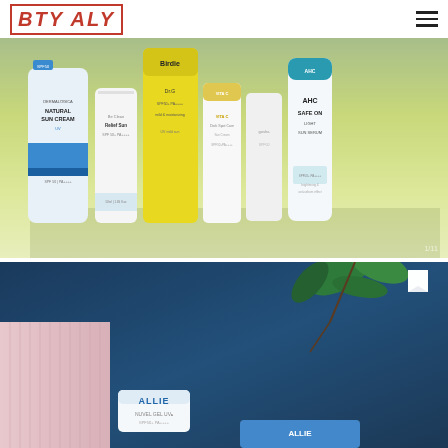BTY ALY
[Figure (photo): Flatlay of multiple Korean sunscreen products and SPF serums standing upright on a light yellow-green surface, including Natural Sun Cream, Be Clean Relief Sun, Free Birdie, Dr.G, VITA C Dark Spot Care, gosha, and AHC Safe On Light Sun Serum]
[Figure (photo): Dark navy blue flat lay with green leaves, a pink ribbed cloth, and ALLIE sunscreen products including a white tube and a blue product on a dark blue background]